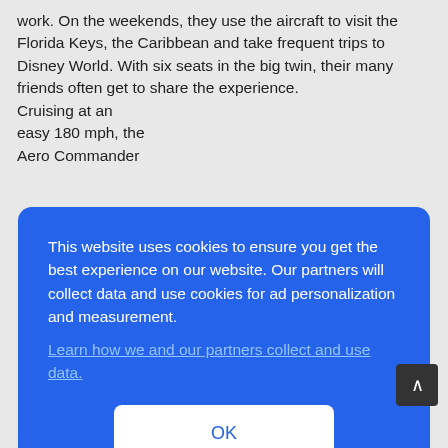work. On the weekends, they use the aircraft to visit the Florida Keys, the Caribbean and take frequent trips to Disney World. With six seats in the big twin, their many friends often get to share the experience. Cruising at an easy 180 mph, the Aero Commander
This website uses cookies to ensure you get the best experience on our website. Our partners will collect data and use cookies for ad personalization and measurement.
Learn how we and our partners collect and use data.
OK
Schweizer 2-33 glider some twenty three